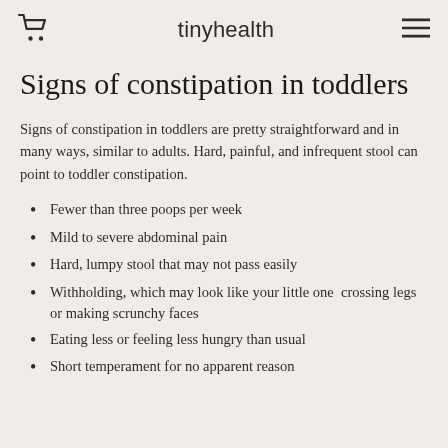tinyhealth
Signs of constipation in toddlers
Signs of constipation in toddlers are pretty straightforward and in many ways, similar to adults. Hard, painful, and infrequent stool can point to toddler constipation.
Fewer than three poops per week
Mild to severe abdominal pain
Hard, lumpy stool that may not pass easily
Withholding, which may look like your little one  crossing legs or making scrunchy faces
Eating less or feeling less hungry than usual
Short temperament for no apparent reason